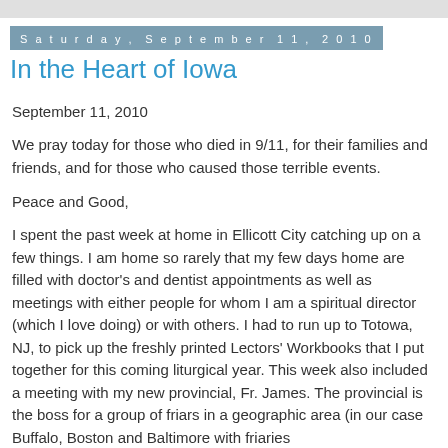Saturday, September 11, 2010
In the Heart of Iowa
September 11, 2010
We pray today for those who died in 9/11, for their families and friends, and for those who caused those terrible events.
Peace and Good,
I spent the past week at home in Ellicott City catching up on a few things. I am home so rarely that my few days home are filled with doctor's and dentist appointments as well as meetings with either people for whom I am a spiritual director (which I love doing) or with others. I had to run up to Totowa, NJ, to pick up the freshly printed Lectors' Workbooks that I put together for this coming liturgical year. This week also included a meeting with my new provincial, Fr. James. The provincial is the boss for a group of friars in a geographic area (in our case Buffalo, Boston and Baltimore with friaries